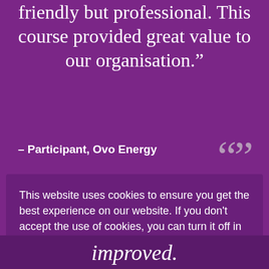friendly but professional. This course provided great value to our organisation.”
– Participant, Ovo Energy
This website uses cookies to ensure you get the best experience on our website. If you don't accept the use of cookies, you can turn it off in your browser settings. More information on how to turn off cookies can be found in our Cookie Policy
View cookie policy
Got it!
improved.